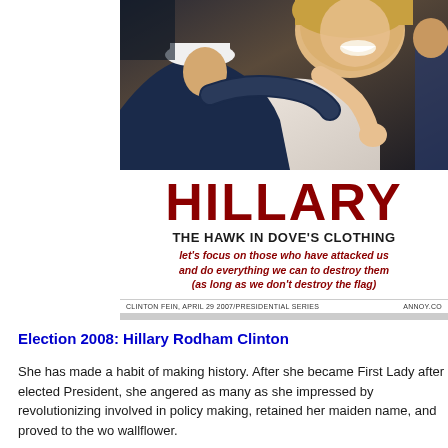[Figure (illustration): Political poster featuring a photo of Hillary Clinton embracing a sailor, with large red 'HILLARY' text, subtitle 'THE HAWK IN DOVE'S CLOTHING', and italic red tagline 'let's focus on those who have attacked us and do everything we can to destroy them (as long as we don't destroy the flag)'. Footer credits: CLINTON FEIN, APRIL 29 2007/PRESIDENTIAL SERIES and ANNOY.CO]
Election 2008: Hillary Rodham Clinton
She has made a habit of making history. After she became First Lady after elected President, she angered as many as she impressed by revolutionizing involved in policy making, retained her maiden name, and proved to the wo wallflower.